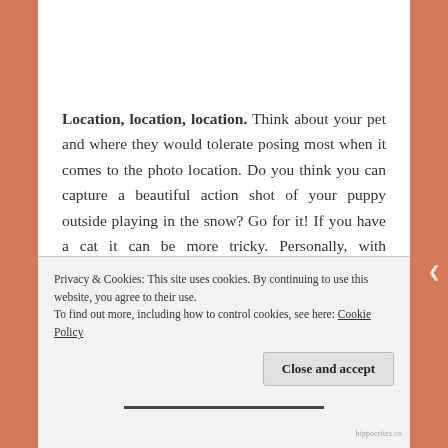Location, location, location. Think about your pet and where they would tolerate posing most when it comes to the photo location. Do you think you can capture a beautiful action shot of your puppy outside playing in the snow? Go for it! If you have a cat it can be more tricky. Personally, with Christmas pictures, I always have my pets pose by a decorated tree. Do you have an ottoman? If the answer is yes,
Privacy & Cookies: This site uses cookies. By continuing to use this website, you agree to their use.
To find out more, including how to control cookies, see here: Cookie Policy
Close and accept